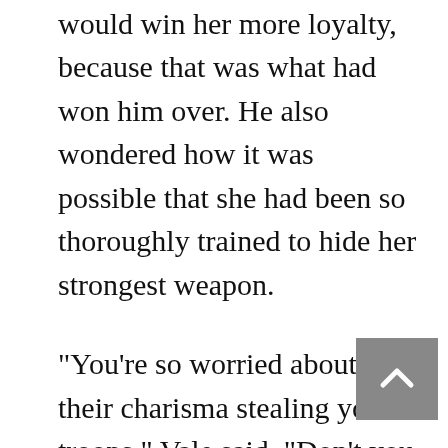showing her genuine self would win her more loyalty, because that was what had won him over. He also wondered how it was possible that she had been so thoroughly trained to hide her strongest weapon.
"You're so worried about their charisma stealing your troops," Vale said. "Don't you realize you have your own? When you interviewed me on Vega, you were genuine. I saw someone I would be proud to serve, someone who deserved my loyalty. I've served in armies before, even as captains, always knowing it would be temporary. I've never expected to spend my life in one until now."
Eve was stunned, he could tell, and moved. She placed her hands on his shoulders and, to his surprise, embraced him. It was the embrace of a commander to her second-in-command, one soldier to another. An embrace of respect and thanks. When they parted, there was something subtly different about her, though he couldn't see what.